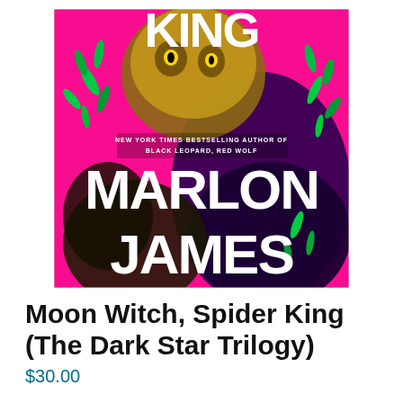[Figure (illustration): Book cover of 'Moon Witch, Spider King' by Marlon James. Hot pink background with stylized fantastical creatures — a leopard and a dark figure adorned with green foliage and ornate details. Large bold white text reads 'KING' at the top, 'MARLON' in the middle, and 'JAMES' at the bottom. Smaller text reads 'New York Times Bestselling Author of Black Leopard, Red Wolf'.]
Moon Witch, Spider King (The Dark Star Trilogy)
$30.00